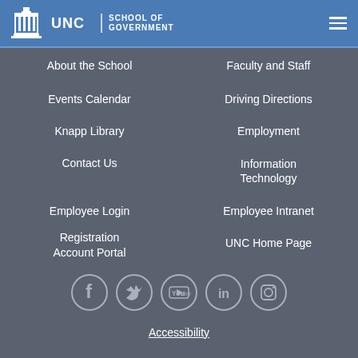UNC School of Government
About the School
Faculty and Staff
Events Calendar
Driving Directions
Knapp Library
Employment
Contact Us
Information Technology
Employee Login
Employee Intranet
Registration Account Portal
UNC Home Page
[Figure (logo): Social media icons: Facebook, Twitter, YouTube, LinkedIn, Instagram]
Accessibility